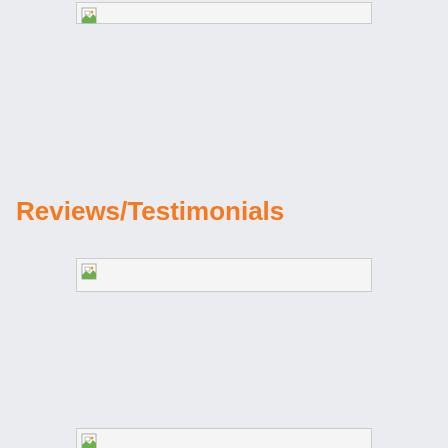[Figure (other): Broken/missing image placeholder at top of page]
Reviews/Testimonials
[Figure (other): Broken/missing image placeholder below Reviews/Testimonials heading]
[Figure (other): Broken/missing image placeholder near bottom of page]